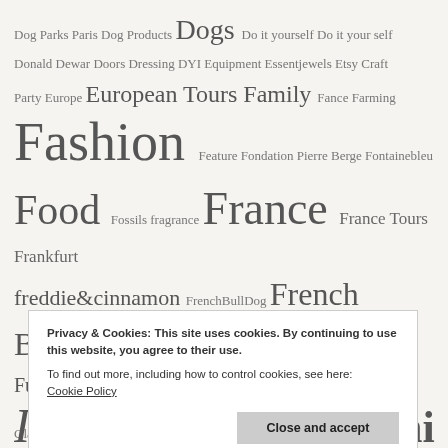Dog Parks Paris Dog Products Dogs Do it yourself Do it your self Donald Dewar Doors Dressing DYI Equipment Essentjewels Etsy Craft Party Europe European Tours Family Fance Farming Fashion Feature Fondation Pierre Berge Fontainebleu Food Fossils fragrance France France Tours Frankfurt freddie&cinnamon FrenchBullDog French Bulldog Funny Furniture Galerie Vivienne Garden Germany gift ideas gifts Giverny Glasgow Graphic Art Green Guide Guides Hair Health Hiking Historical History Home Home Decor Home Design Home Ideas Home Projects Italy Japan Japanese Jardin Jeanne de Arc Jeni Life Jeni
Privacy & Cookies: This site uses cookies. By continuing to use this website, you agree to their use.
To find out more, including how to control cookies, see here:
Cookie Policy
Close and accept